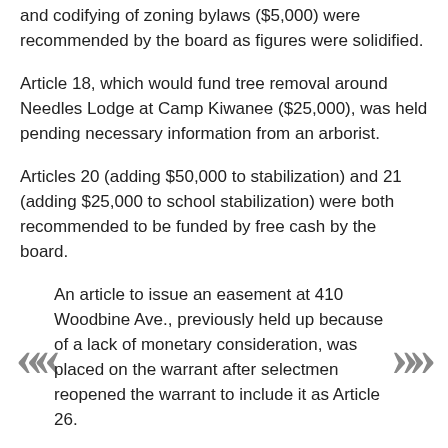and codifying of zoning bylaws ($5,000) were recommended by the board as figures were solidified.
Article 18, which would fund tree removal around Needles Lodge at Camp Kiwanee ($25,000), was held pending necessary information from an arborist.
Articles 20 (adding $50,000 to stabilization) and 21 (adding $25,000 to school stabilization) were both recommended to be funded by free cash by the board.
An article to issue an easement at 410 Woodbine Ave., previously held up because of a lack of monetary consideration, was placed on the warrant after selectmen reopened the warrant to include it as Article 26.
“Just today, I received a call from the bank, who wants to know what’s going on with Woodbine Avenue,” said interim Town Administrator Meredith Marini. She said a bank official indicated they would “see what they could do. … I’d rather at least have it on the warrant and see if we can negotiate it